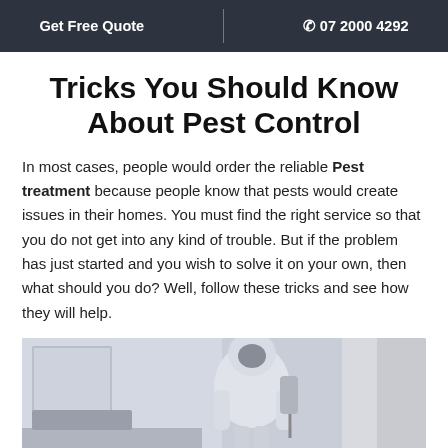Get Free Quote  |  📞 07 2000 4292
Tricks You Should Know About Pest Control
In most cases, people would order the reliable Pest treatment because people know that pests would create issues in their homes. You must find the right service so that you do not get into any kind of trouble. But if the problem has just started and you wish to solve it on your own, then what should you do? Well, follow these tricks and see how they will help.
[Figure (photo): A person in a white protective hazmat suit performing pest control treatment indoors]